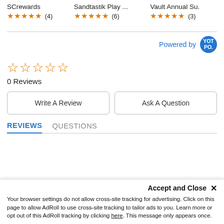[Figure (screenshot): Product cards row showing SCrewards (5 stars, 4 reviews), Sandtastik Play... (5 stars, 6 reviews), Vault Annual Su. (5 stars, 3 reviews) with star ratings in orange]
Powered by YOTPO
0 Reviews
Write A Review
Ask A Question
REVIEWS   QUESTIONS
Accept and Close ✕
Your browser settings do not allow cross-site tracking for advertising. Click on this page to allow AdRoll to use cross-site tracking to tailor ads to you. Learn more or opt out of this AdRoll tracking by clicking here. This message only appears once.